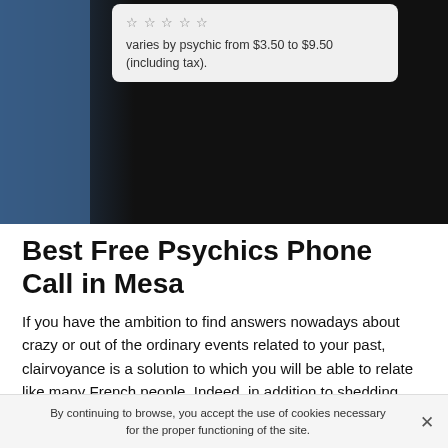[Figure (photo): Dark background photo of a person in black clothing with a blue accent on the left side, and a tooltip/popup box overlaid at the top showing star rating and price text]
varies by psychic from $3.50 to $9.50 (including tax).
Best Free Psychics Phone Call in Mesa
If you have the ambition to find answers nowadays about crazy or out of the ordinary events related to your past, clairvoyance is a solution to which you will be able to relate like many French people. Indeed, in addition to shedding light on your past, clairvoyance allows the oracles to lead
By continuing to browse, you accept the use of cookies necessary for the proper functioning of the site.